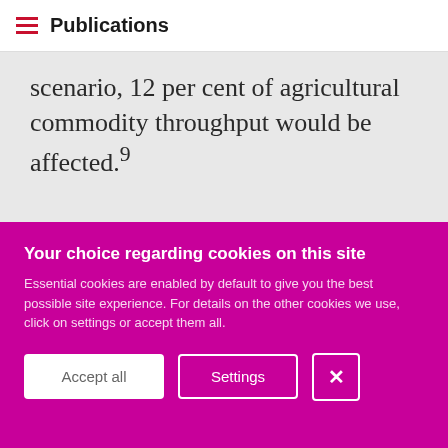Publications
scenario, 12 per cent of agricultural commodity throughput would be affected.⁹
[Figure (photo): Aerial/satellite photograph of the Suez Canal region showing the canal waterway cutting through the desert landscape, with the Mediterranean Sea or Red Sea visible on the left side and sandy desert terrain on the right.]
Your choice regarding cookies on this site
Essential cookies are enabled by default to give you the best possible site experience. For details on the other cookies we use, click on settings or accept them all.